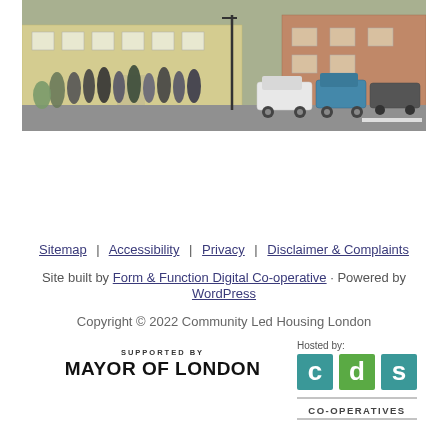[Figure (photo): Group of people standing outside a building on a street, with cars parked on the right side. A cream/yellow rendered building is visible in the background.]
Sitemap | Accessibility | Privacy | Disclaimer & Complaints
Site built by Form & Function Digital Co-operative · Powered by WordPress
Copyright © 2022 Community Led Housing London
[Figure (logo): Supported by Mayor of London logo — bold black text reading MAYOR OF LONDON with SUPPORTED BY above in small caps]
[Figure (logo): Hosted by: CDS Co-operatives logo — three coloured squares (teal, green, teal) with letters c, d, s and CO-OPERATIVES text below]